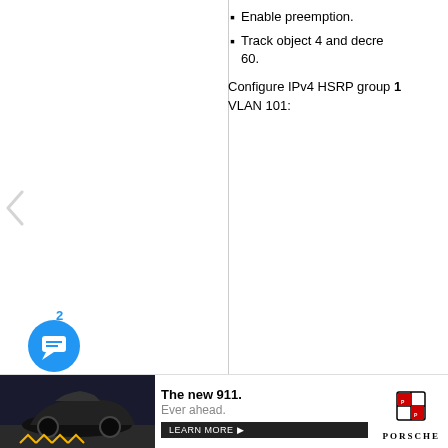Enable preemption.
Track object 4 and decre 60.
Configure IPv4 HSRP group 1 VLAN 101:
[Figure (photo): Wildlife conservation advertisement showing two monkeys (capuchin) with text 'Just $2 can prote of irreplaceab homes in the' and bottom text 'How many acres will you p' with a 'PROTECT FORESTS NOW' button]
[Figure (photo): Porsche 911 car advertisement with dark background, road, and text 'The new 911. Ever ahead.' with a 'LEARN MORE' button and Porsche logo]